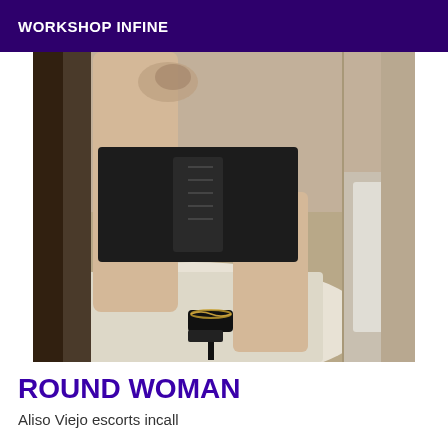WORKSHOP INFINE
[Figure (photo): Photo of a woman from behind, wearing a black leather mini skirt and black high heel shoes with ankle chain, standing near a bed with white sheets, in a room with beige/tan carpet and walls. The woman has a tattoo visible on her upper back/shoulder area.]
ROUND WOMAN
Aliso Viejo escorts incall